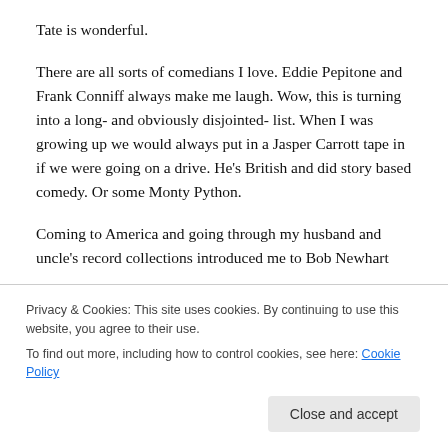Tate is wonderful.
There are all sorts of comedians I love.  Eddie Pepitone and Frank Conniff always make me laugh.  Wow, this is turning into a long- and obviously disjointed- list.  When I was growing up we would always put in a Jasper Carrott tape in if we were going on a drive.  He's British and did story based comedy.  Or some Monty Python.
Coming to America and going through my husband and uncle's record collections introduced me to Bob Newhart and Bill Cosby among others.  Currently, I'm watching
Privacy & Cookies: This site uses cookies. By continuing to use this website, you agree to their use.
To find out more, including how to control cookies, see here: Cookie Policy
Close and accept